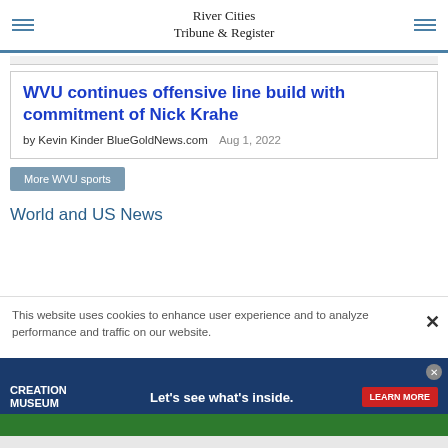River Cities Tribune & Register
WVU continues offensive line build with commitment of Nick Krahe
by Kevin Kinder BlueGoldNews.com  Aug 1, 2022
More WVU sports
World and US News
This website uses cookies to enhance user experience and to analyze performance and traffic on our website.
[Figure (screenshot): Creation Museum advertisement banner: dark navy background with 'CREATION MUSEUM' text on left, 'Let’s see what’s inside.' tagline in center, red 'LEARN MORE' button on right, green decorative bottom strip.]